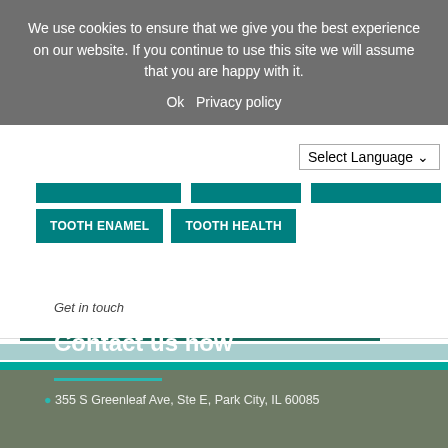We use cookies to ensure that we give you the best experience on our website. If you continue to use this site we will assume that you are happy with it.
Ok   Privacy policy
Select Language
TOOTH ENAMEL
TOOTH HEALTH
Get in touch
Contact us now
355 S Greenleaf Ave, Ste E, Park City, IL 60085